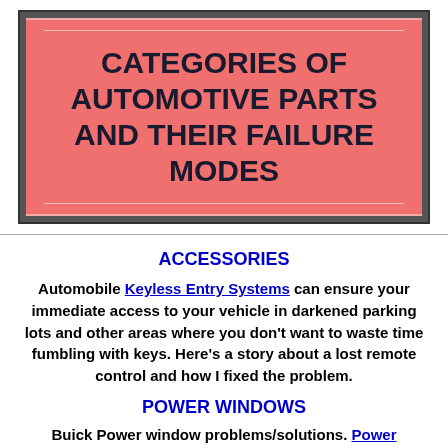CATEGORIES OF AUTOMOTIVE PARTS AND THEIR FAILURE MODES
ACCESSORIES
Automobile Keyless Entry Systems can ensure your immediate access to your vehicle in darkened parking lots and other areas where you don't want to waste time fumbling with keys. Here's a story about a lost remote control and how I fixed the problem.
POWER WINDOWS
Buick Power window problems/solutions. Power Windows